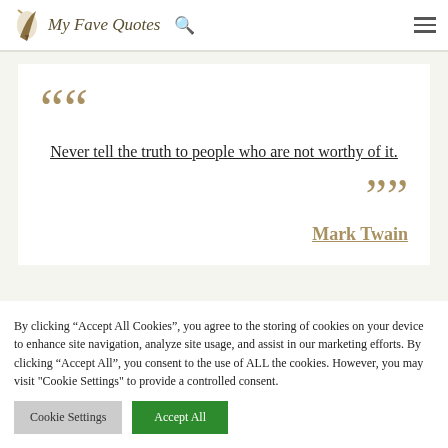My Fave Quotes
Never tell the truth to people who are not worthy of it.
Mark Twain
By clicking “Accept All Cookies”, you agree to the storing of cookies on your device to enhance site navigation, analyze site usage, and assist in our marketing efforts. By clicking “Accept All”, you consent to the use of ALL the cookies. However, you may visit "Cookie Settings" to provide a controlled consent.